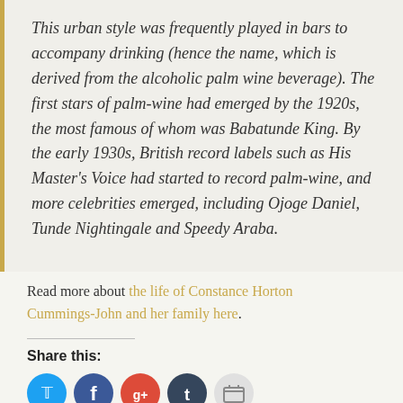This urban style was frequently played in bars to accompany drinking (hence the name, which is derived from the alcoholic palm wine beverage). The first stars of palm-wine had emerged by the 1920s, the most famous of whom was Babatunde King. By the early 1930s, British record labels such as His Master's Voice had started to record palm-wine, and more celebrities emerged, including Ojoge Daniel, Tunde Nightingale and Speedy Araba.
Read more about the life of Constance Horton Cummings-John and her family here.
Share this: